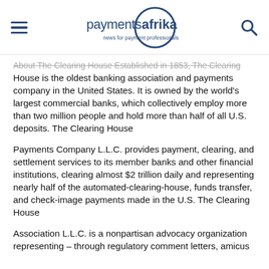payments afrika — news for payment professionals
About The Clearing House Established in 1853, The Clearing House is the oldest banking association and payments company in the United States. It is owned by the world's largest commercial banks, which collectively employ more than two million people and hold more than half of all U.S. deposits. The Clearing House
Payments Company L.L.C. provides payment, clearing, and settlement services to its member banks and other financial institutions, clearing almost $2 trillion daily and representing nearly half of the automated-clearing-house, funds transfer, and check-image payments made in the U.S. The Clearing House
Association L.L.C. is a nonpartisan advocacy organization representing – through regulatory comment letters, amicus